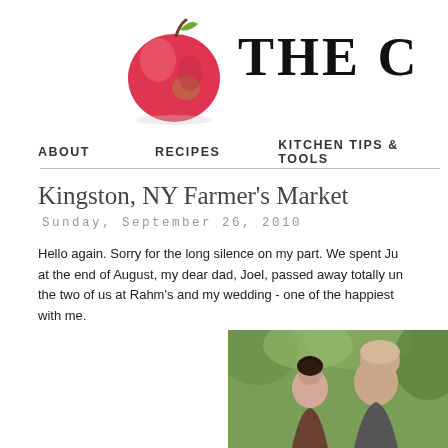[Figure (illustration): Red apple illustration used as blog logo]
THE C
ABOUT   RECIPES   KITCHEN TIPS & TOOLS
Kingston, NY Farmer's Market
Sunday, September 26, 2010
Hello again. Sorry for the long silence on my part. We spent Ju... at the end of August, my dear dad, Joel, passed away totally u... the two of us at Rahm's and my wedding - one of the happiest ... with me.
[Figure (photo): Photo of two people (man and woman) outdoors with green foliage background]